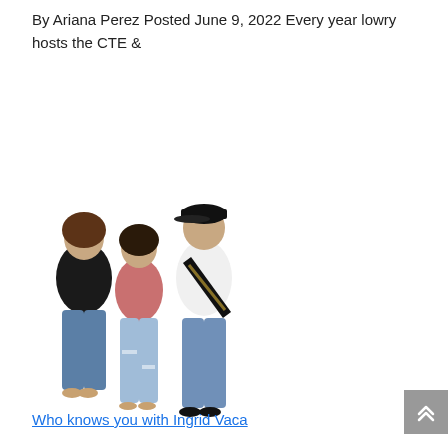By Ariana Perez Posted June 9, 2022 Every year lowry hosts the CTE &
[Figure (photo): Three students posing together — a woman in a black top and jeans on the left, a woman in a pink top and ripped jeans in the middle, and a young man wearing a black cap, white t-shirt with a black-and-gold sash reading 'Senior Court', and jeans on the right.]
Who knows you with Ingrid Vaca